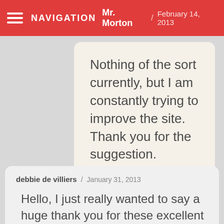NAVIGATION Mr. Morton / February 14, 2013
Nothing of the sort currently, but I am constantly trying to improve the site. Thank you for the suggestion.
debbie de villiers / January 31, 2013
Hello, I just really wanted to say a huge thank you for these excellent resources. I have started using them in